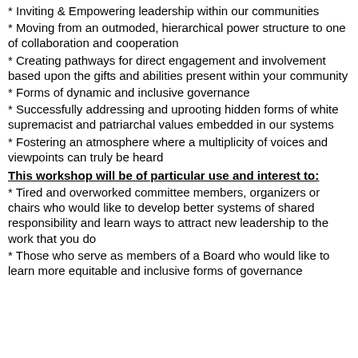Inviting & Empowering leadership within our communities
Moving from an outmoded, hierarchical power structure to one of collaboration and cooperation
Creating pathways for direct engagement and involvement based upon the gifts and abilities present within your community
Forms of dynamic and inclusive governance
Successfully addressing and uprooting hidden forms of white supremacist and patriarchal values embedded in our systems
Fostering an atmosphere where a multiplicity of voices and viewpoints can truly be heard
This workshop will be of particular use and interest to:
Tired and overworked committee members, organizers or chairs who would like to develop better systems of shared responsibility and learn ways to attract new leadership to the work that you do
Those who serve as members of a Board who would like to learn more equitable and inclusive forms of governance